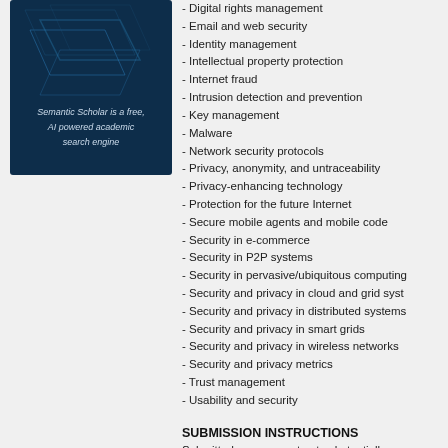[Figure (illustration): Book or publication cover with dark blue background featuring geometric shapes and text 'Semantic Scholar is a free, AI powered academic search engine']
- Digital rights management
- Email and web security
- Identity management
- Intellectual property protection
- Internet fraud
- Intrusion detection and prevention
- Key management
- Malware
- Network security protocols
- Privacy, anonymity, and untraceability
- Privacy-enhancing technology
- Protection for the future Internet
- Secure mobile agents and mobile code
- Security in e-commerce
- Security in P2P systems
- Security in pervasive/ubiquitous computing
- Security and privacy in cloud and grid systems
- Security and privacy in distributed systems
- Security and privacy in smart grids
- Security and privacy in wireless networks
- Security and privacy metrics
- Trust management
- Usability and security
SUBMISSION INSTRUCTIONS
Submitted papers must not substantially overlap with papers that have been published or that are simultaneously submitted to a journal or a conference with proceedings. All submissions must be appropriately anonymized (i.e., papers should not contain author names or affiliations, or obvious citations).